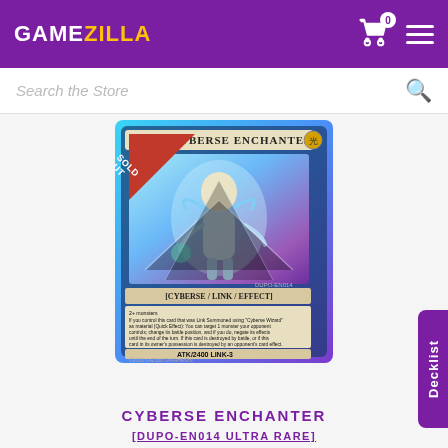GAMEZILLA
Search the Store
[Figure (illustration): Yu-Gi-Oh! trading card: Cyberse Enchanter. [Cyberse/Link/Effect]. ATK/2400 LINK-3. DUPO-EN014 Ultra Rare. Sold Out badge in top-left corner of card image.]
CYBERSE ENCHANTER
[DUPO-EN014 ULTRA RARE]